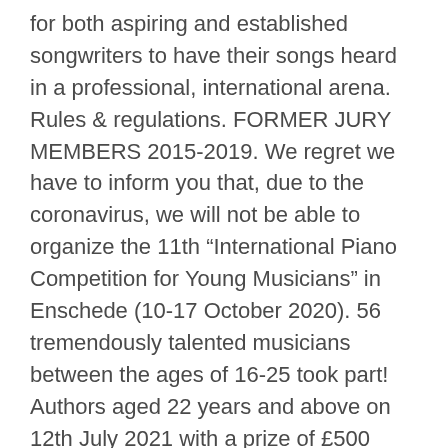for both aspiring and established songwriters to have their songs heard in a professional, international arena. Rules & regulations. FORMER JURY MEMBERS 2015-2019. We regret we have to inform you that, due to the coronavirus, we will not be able to organize the 11th âInternational Piano Competition for Young Musiciansâ in Enschede (10-17 October 2020). 56 tremendously talented musicians between the ages of 16-25 took part! Authors aged 22 years and above on 12th July 2021 with a prize of £500 (entry £10 or £5 with student id). Host families. WhatsApp/SMS +60-10-226-0200 The Sun Life Malaysia Resolution Run takes place on Sunday 12 January 2020 at Perdana Botanical Garden, Kuala Lumpur. There are two categories. Please note, dates and booking periods for Grades 1-5 and Grades 6-8 may be different from â¦ Registration deadline June 1st, 2021. The Malaysian